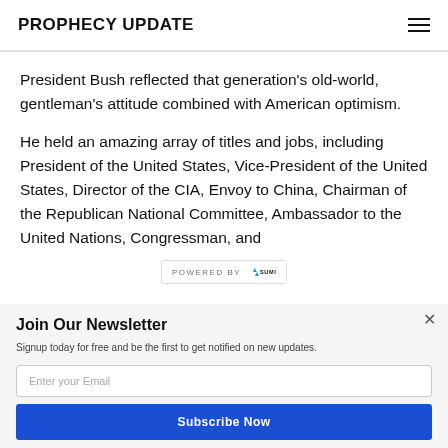PROPHECY UPDATE
President Bush reflected that generation's old-world, gentleman's attitude combined with American optimism.
He held an amazing array of titles and jobs, including President of the United States, Vice-President of the United States, Director of the CIA, Envoy to China, Chairman of the Republican National Committee, Ambassador to the United Nations, Congressman, and
Join Our Newsletter
Signup today for free and be the first to get notified on new updates.
Enter your Email
Subscribe Now